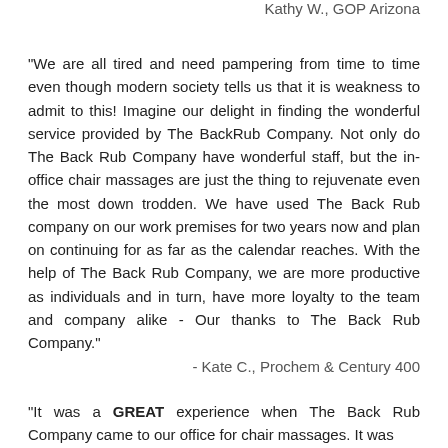Kathy W., GOP Arizona
"We are all tired and need pampering from time to time even though modern society tells us that it is weakness to admit to this! Imagine our delight in finding the wonderful service provided by The BackRub Company. Not only do The Back Rub Company have wonderful staff, but the in-office chair massages are just the thing to rejuvenate even the most down trodden. We have used The Back Rub company on our work premises for two years now and plan on continuing for as far as the calendar reaches. With the help of The Back Rub Company, we are more productive as individuals and in turn, have more loyalty to the team and company alike - Our thanks to The Back Rub Company."
- Kate C., Prochem & Century 400
"It was a GREAT experience when The Back Rub Company came to our office for chair massages. It was